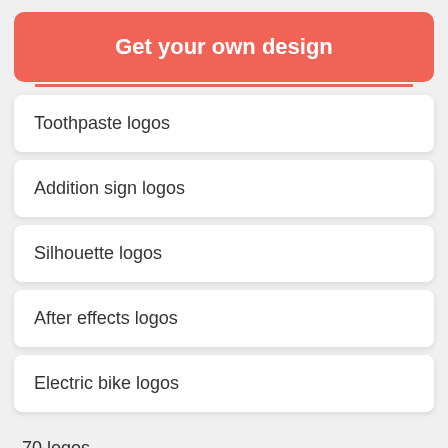[Figure (other): Red/coral button banner saying 'Get your own design']
Toothpaste logos
Addition sign logos
Silhouette logos
After effects logos
Electric bike logos
70 logos